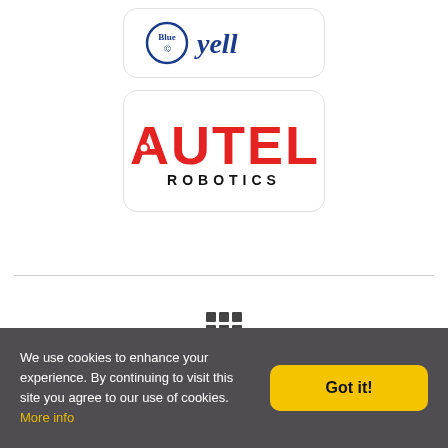[Figure (logo): Blue Yell logo — circular blue emblem with 'Blue' text inside and 'yell' in cursive italic, on a white rounded-corner card]
[Figure (logo): Autel Robotics logo — 'AUTEL' in large bold red letters with 'ROBOTICS' in black below, on a white rounded-corner card]
[Figure (other): 3x3 grid icon (apps/menu icon) in dark gray]
We use cookies to enhance your experience. By continuing to visit this site you agree to our use of cookies. More info